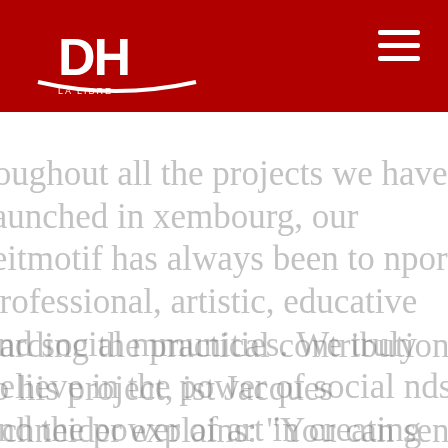DH logo and hamburger menu
roughout all the projects we have launched in xembourg, our leitmotif has always been to nport professional, artistic, educative and social mmunities. We truly believe in the power of social nds and the power of art in creating them", says György Gattyan, founder and owner of Docler nding.
garding the practical contribution to his project, ist Jacques Schneider explains: "You can send traits, drawings, photos, or anything that resents your daily life in Luxembourg. Our joint ative efforts will enable us to support the Grand-